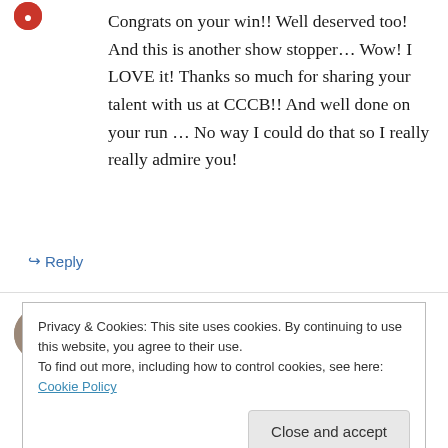Congrats on your win!! Well deserved too! And this is another show stopper… Wow! I LOVE it! Thanks so much for sharing your talent with us at CCCB!! And well done on your run … No way I could do that so I really really admire you!
↳ Reply
Faith A on February 24, 2016 at 3:50 pm
Now I understand LOL. It IS STUNNING.
Privacy & Cookies: This site uses cookies. By continuing to use this website, you agree to their use.
To find out more, including how to control cookies, see here: Cookie Policy
Close and accept